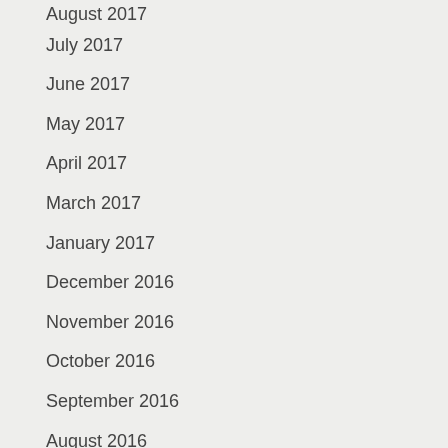August 2017
July 2017
June 2017
May 2017
April 2017
March 2017
January 2017
December 2016
November 2016
October 2016
September 2016
August 2016
July 2016
June 2016
May 2016